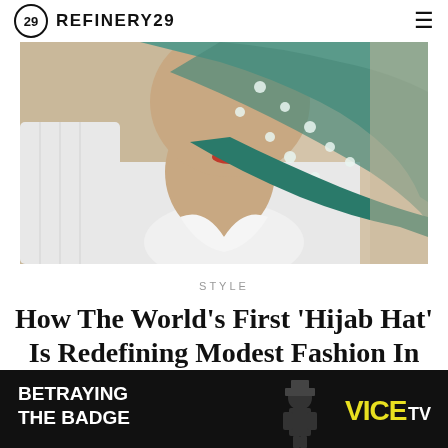REFINERY29
[Figure (photo): Close-up portrait of a person wearing a white blouse and a green/teal polka-dot hijab scarf, with red lipstick, against a beige/neutral background.]
STYLE
How The World's First 'Hijab Hat' Is Redefining Modest Fashion In Australia
[Figure (photo): Advertisement banner: BETRAYING THE BADGE on VICE TV — dark background with a figure in uniform.]